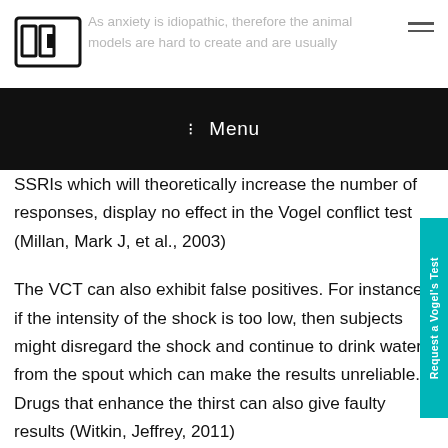As anxiety is idiopathic, therefore the animal models are hard to create and are usually
SSRIs which will theoretically increase the number of responses, display no effect in the Vogel conflict test (Millan, Mark J, et al., 2003)
The VCT can also exhibit false positives. For instance, if the intensity of the shock is too low, then subjects might disregard the shock and continue to drink water from the spout which can make the results unreliable. Drugs that enhance the thirst can also give faulty results (Witkin, Jeffrey, 2011)